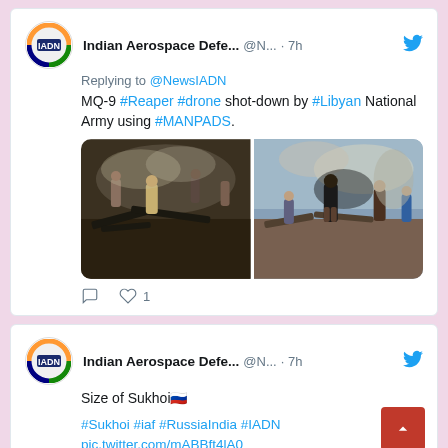[Figure (screenshot): Twitter/social media feed screenshot showing two tweets from Indian Aerospace Defense News account. First tweet replies to @NewsIADN with text about MQ-9 Reaper drone shot-down, includes two photos of wreckage. Second tweet mentions Size of Sukhoi with hashtags.]
Indian Aerospace Defe... @N... · 7h — Replying to @NewsIADN — MQ-9 #Reaper #drone shot-down by #Libyan National Army using #MANPADS.
Indian Aerospace Defe... @N... · 7h — Size of Sukhoi 🇷🇺 — #Sukhoi #iaf #RussiaIndia #IADN pic.twitter.com/mABBft4lA0